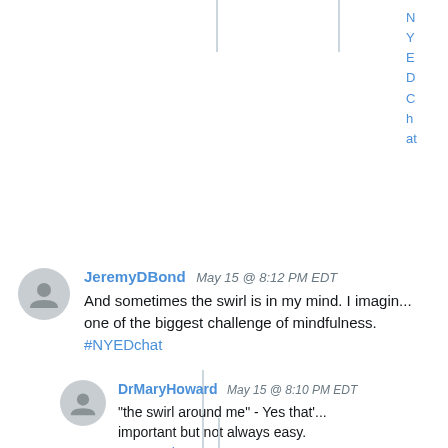[Figure (screenshot): Partial right-side text in blue, cut off at edge, showing letters N, Y, E, D, C, h, at vertically]
JeremyDBond May 15 @ 8:12 PM EDT
And sometimes the swirl is in my mind. I imagin... one of the biggest challenge of mindfulness. #NYEDchat
DrMaryHoward May 15 @ 8:10 PM EDT
"the swirl around me" - Yes that'... important but not always easy. #NYEDchat